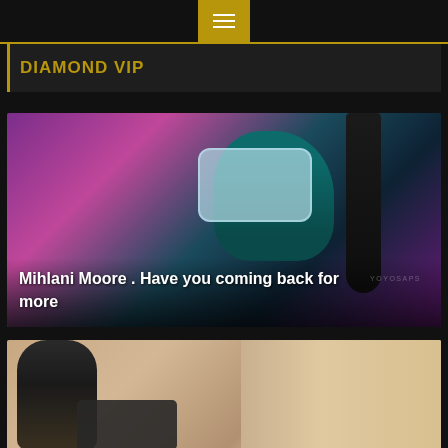≡
DIAMOND VIP
[Figure (photo): Person in teal/dark lingerie with lace arm bands against a purple/magenta background, with long dark hair. Text overlay reads: Mihlani Moore . Have you coming back for more]
Mihlani Moore . Have you coming back for more
[Figure (photo): Partial view of a person with long dark hair from behind, in a beige/tan room setting]